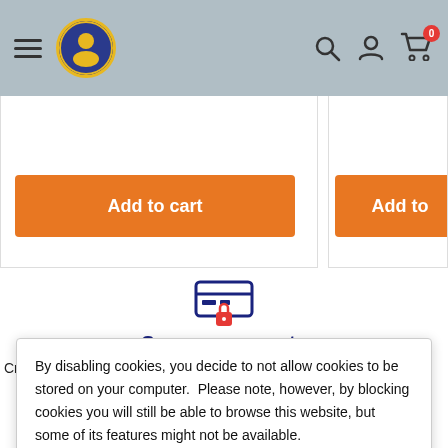Navigation header with hamburger menu, logo, search, account, and cart (0 items)
[Figure (screenshot): Orange 'Add to cart' button on left product card]
[Figure (screenshot): Orange 'Add to' button (truncated) on right product card]
[Figure (infographic): Secure payments icon: credit card with padlock, blue and red]
Secure payments
Credit card data is not stored. Transactions are encrypted and
By disabling cookies, you decide to not allow cookies to be stored on your computer. Please note, however, by blocking cookies you will still be able to browse this website, but some of its features might not be available.
Accept
Subject to conditions and applies to continental USA.